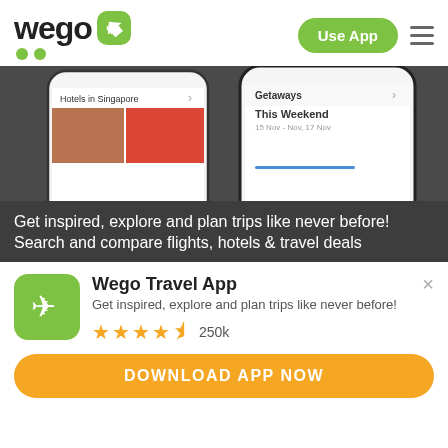[Figure (logo): Wego logo with green airplane icon and green dots]
Use App
[Figure (screenshot): Two smartphone mockups showing Wego travel app screens with hotel listings in Singapore and Getaways/This Weekend sections]
Get inspired, explore and plan trips like never before! Search and compare flights, hotels & travel deals
[Figure (logo): Wego app icon - green square with white airplane]
Wego Travel App
Get inspired, explore and plan trips like never before!
[Figure (infographic): Star rating: 4.5 stars, 250k reviews]
DOWNLOAD APP NOW